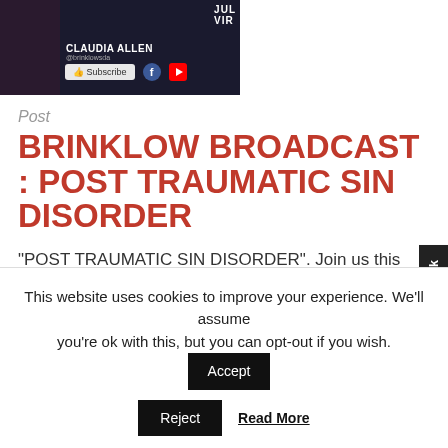[Figure (screenshot): YouTube/social media thumbnail showing Claudia Allen with Subscribe button, Facebook and YouTube icons, and partial text 'JUL' and 'VIR' visible in top right]
Post
BRINKLOW BROADCAST : POST TRAUMATIC SIN DISORDER
“POST TRAUMATIC SIN DISORDER”. Join us this Sabbath virtually as Claudia Allen brings the word. July 30 at 11:30am, join us online for this amazing service! Make sure that you chat with us and respond to the service! www.youtube.com/c/brinklowsda www.facebook.com/brinklowsda #virtualservice #brinklow #sermon #brinklowsda #virtualchurch #virtual #connection #connectionseries
This website uses cookies to improve your experience. We’ll assume you’re ok with this, but you can opt-out if you wish.
Accept
Reject
Read More